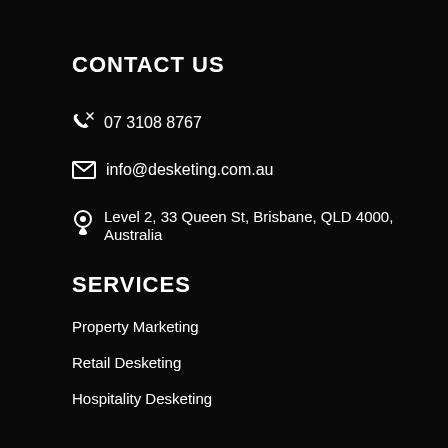CONTACT US
07 3108 8767
info@desketing.com.au
Level 2, 33 Queen St, Brisbane, QLD 4000, Australia
SERVICES
Property Marketing
Retail Desketing
Hospitality Desketing